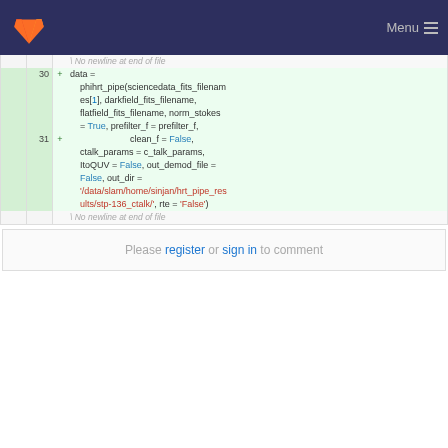GitLab Menu
[Figure (screenshot): Code diff view showing Python code addition with line numbers 30 and 31, adding a call to phihrt_pipe with various parameters including sciencedata_fits_filenames, darkfield_fits_filename, flatfield_fits_filename, norm_stokes, prefilter_f, clean_f, ctalk_params, ItoQUV, out_demod_file, out_dir, and rte. Below the diff is a comment box saying 'Please register or sign in to comment'.]